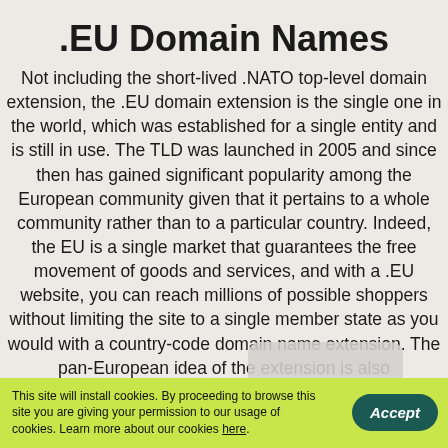.EU Domain Names
Not including the short-lived .NATO top-level domain extension, the .EU domain extension is the single one in the world, which was established for a single entity and is still in use. The TLD was launched in 2005 and since then has gained significant popularity among the European community given that it pertains to a whole community rather than to a particular country. Indeed, the EU is a single market that guarantees the free movement of goods and services, and with a .EU website, you can reach millions of possible shoppers without limiting the site to a single member state as you would with a country-code domain name extension. The pan-European idea of the extension is also demonstrated by the fact that the official website of the EU is europa.eu and that the EU institutions of
This site will install cookies. By proceeding to browse this site you are giving your permission to our usage of cookies. Learn more about our cookies here.